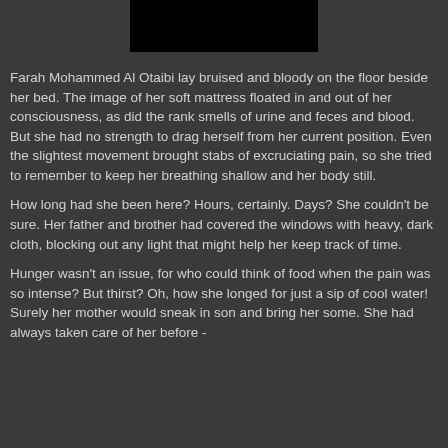[Figure (photo): Black rectangle at top center of page, likely a redacted or blacked-out image]
Farah Mohammed Al Otaibi lay bruised and bloody on the floor beside her bed. The image of her soft mattress floated in and out of her consciousness, as did the rank smells of urine and feces and blood. But she had no strength to drag herself from her current position. Even the slightest movement brought stabs of excruciating pain, so she tried to remember to keep her breathing shallow and her body still.
How long had she been here? Hours, certainly. Days? She couldn't be sure. Her father and brother had covered the windows with heavy, dark cloth, blocking out any light that might help her keep track of time.
Hunger wasn't an issue, for who could think of food when the pain was so intense? But thirst? Oh, how she longed for just a sip of cool water! Surely her mother would sneak in son and bring her some. She had always taken care of her before -